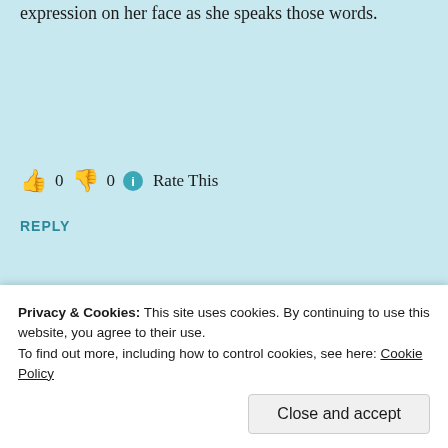expression on her face as she speaks those words.
👍 0 👎 0 ℹ Rate This
REPLY
[Figure (infographic): Dark banner advertisement: circular logo with bonsai tree, text 'Launch your online course with WordPress', button 'Learn More']
REPORT THIS AD
Privacy & Cookies: This site uses cookies. By continuing to use this website, you agree to their use.
To find out more, including how to control cookies, see here: Cookie Policy
Close and accept